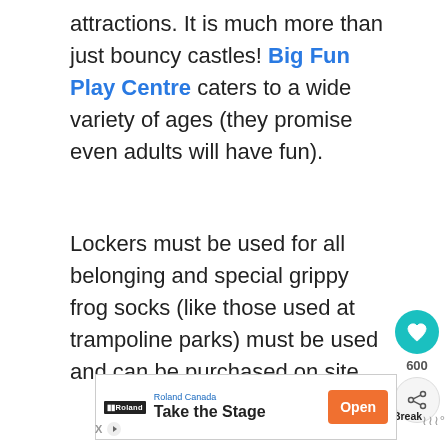attractions. It is much more than just bouncy castles! Big Fun Play Centre caters to a wide variety of ages (they promise even adults will have fun).
Lockers must be used for all belonging and special grippy frog socks (like those used at trampoline parks) must be used and can be purchased on site.
[Figure (other): Heart/like button (teal circle with heart icon) showing count 600, and a share button below it]
[Figure (other): What's Next promo thumbnail for Calgary Winter Break Ideas article]
[Figure (other): Roland Canada advertisement banner: Take the Stage, with Open button]